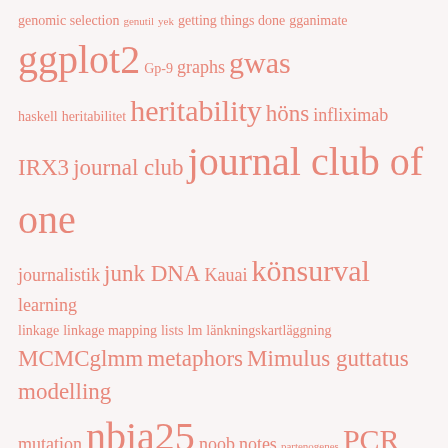[Figure (other): A word cloud of science/statistics blog tags in salmon/coral pink color on light background. Words are sized by frequency/importance. Tags include: genomic selection, genutil, yek, getting things done, gganimate, ggplot2, Gp-9, graphs, gwas, haskell, heritabilitet, heritability, höns, infliximab, IRX3, journal club, journal club of one, journalistik, junk DNA, Kauai, könsurval, learning, linkage, linkage mapping, lists, lm, länkningskartläggning, MCMCglmm, metaphors, Mimulus guttatus, modelling, mutation, nbia25, noob, notes, partenogenes, PCR, pedagogik, Peerage of Science, peer review, pig, pleiotropy, plyr, population genetics, populär/vetenskap, posters, poster sessions, power, preprints, publishing, purrr, qtl, quantitative genetics, quantitative traits, R, read.table, readr, recombination, Red Junglefowl, regression lines, replication, reshape2, rhetorics, Richard Dawkins, rna, rstan, science communication, sekvensering, selection, selective sweeps, selfish gene, sequencing, sex, sexual selection, simulation, single cell sequencing]